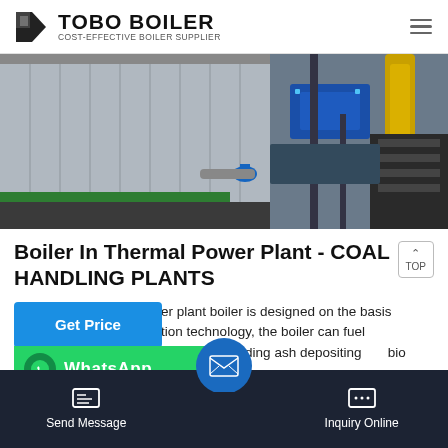TOBO BOILER - COST-EFFECTIVE BOILER SUPPLIER
[Figure (photo): Industrial boiler equipment in a power plant facility showing large cylindrical boiler tanks, blue machinery, yellow pipes, and metal scaffolding/stairs]
Boiler In Thermal Power Plant - COAL HANDLING PLANTS
mass power plant boiler is designed on the basis of ized bed combustion technology, the boiler can fuel include3t... other biomass pellet, avoiding ash depositing bio... combustion and heat
Send Message | Inquiry Online